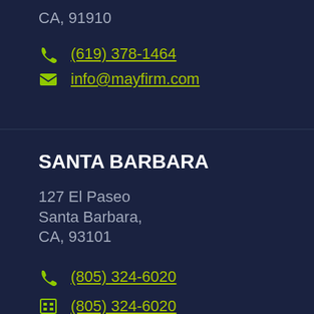CA, 91910
(619) 378-1464
info@mayfirm.com
SANTA BARBARA
127 El Paseo
Santa Barbara,
CA, 93101
(805) 324-6020
(805) 324-6020